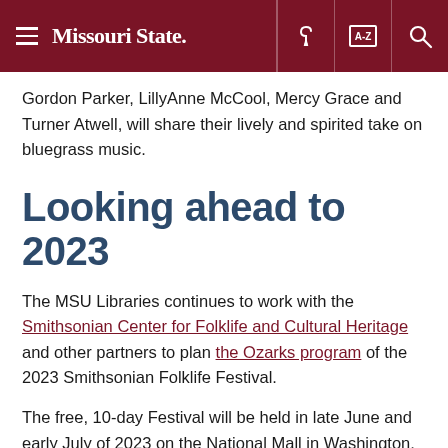Missouri State
Gordon Parker, LillyAnne McCool, Mercy Grace and Turner Atwell, will share their lively and spirited take on bluegrass music.
Looking ahead to 2023
The MSU Libraries continues to work with the Smithsonian Center for Folklife and Cultural Heritage and other partners to plan the Ozarks program of the 2023 Smithsonian Folklife Festival.
The free, 10-day Festival will be held in late June and early July of 2023 on the National Mall in Washington, D.C. At the event, participants will experience Ozarks